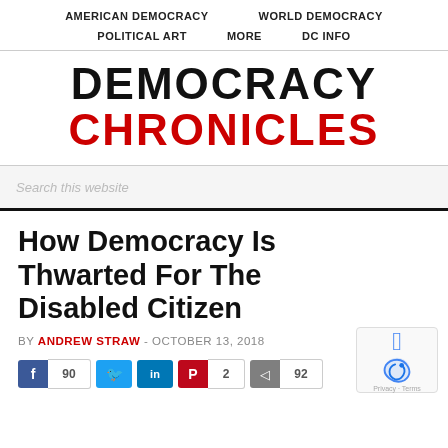AMERICAN DEMOCRACY   WORLD DEMOCRACY   POLITICAL ART   MORE   DC INFO
DEMOCRACY CHRONICLES
Search this website
How Democracy Is Thwarted For The Disabled Citizen
BY ANDREW STRAW - OCTOBER 13, 2018
f 90  [twitter] [in]  p 2  < 92